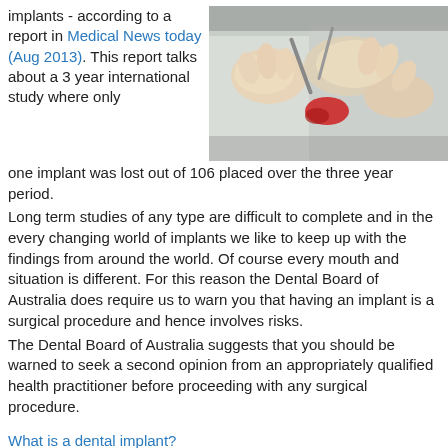implants - according to a report in Medical News today (Aug 2013). This report talks about a 3 year international study where only one implant was lost out of 106 placed over the three year period.
[Figure (photo): Close-up photo of dental implant procedure, gloved hands working with instruments and red marking material on tooth model.]
Long term studies of any type are difficult to complete and in the every changing world of implants we like to keep up with the findings from around the world. Of course every mouth and situation is different. For this reason the Dental Board of Australia does require us to warn you that having an implant is a surgical procedure and hence involves risks.
The Dental Board of Australia suggests that you should be warned to seek a second opinion from an appropriately qualified health practitioner before proceeding with any surgical procedure.
What is a dental implant?
Can anyone have a dental implant?
What is involved?